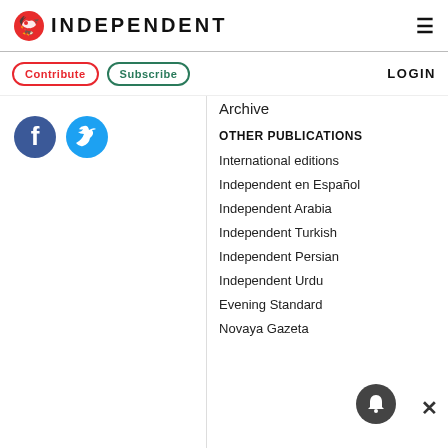INDEPENDENT
Contribute  Subscribe  LOGIN
[Figure (logo): Facebook and Twitter social media icons (circular blue icons)]
Archive
OTHER PUBLICATIONS
International editions
Independent en Español
Independent Arabia
Independent Turkish
Independent Persian
Independent Urdu
Evening Standard
Novaya Gazeta